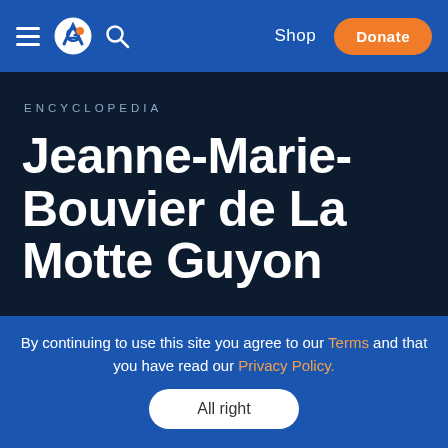Shop | Donate
ENCYCLOPEDIA
Jeanne-Marie-Bouvier de La Motte Guyon
Share
By continuing to use this site you agree to our Terms and that you have read our Privacy Policy.
All right